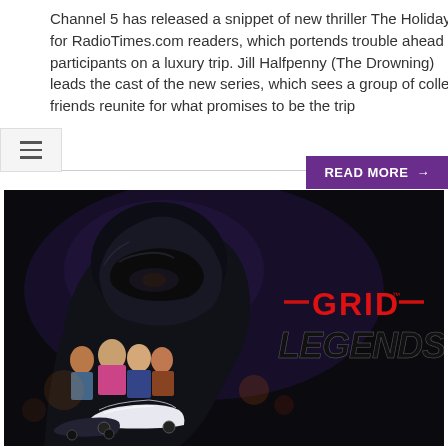Channel 5 has released a snippet of new thriller The Holiday for RadioTimes.com readers, which portends trouble ahead for participants on a luxury trip. Jill Halfpenny (The Drowning) leads the cast of the new series, which sees a group of college friends reunite for what promises to be the trip
READ MORE →
[Figure (illustration): GRID Legends promotional art showing a silhouetted racing driver in helmet against a dark background, with multiple characters and racing cars, and the GRID Legends logo in red and black text on the right side]